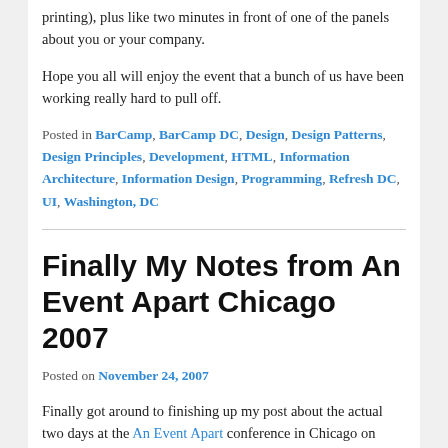printing), plus like two minutes in front of one of the panels about you or your company.
Hope you all will enjoy the event that a bunch of us have been working really hard to pull off.
Posted in BarCamp, BarCamp DC, Design, Design Patterns, Design Principles, Development, HTML, Information Architecture, Information Design, Programming, Refresh DC, UI, Washington, DC
Finally My Notes from An Event Apart Chicago 2007
Posted on November 24, 2007
Finally got around to finishing up my post about the actual two days at the An Event Apart conference in Chicago on August 27 – 28, 2007. I had  a great time both at the conference and at the different gatherings each evening. I